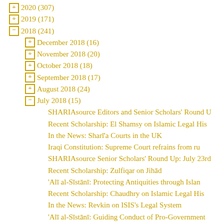2020 (307)
2019 (171)
2018 (241)
December 2018 (16)
November 2018 (20)
October 2018 (18)
September 2018 (17)
August 2018 (24)
July 2018 (15)
SHARIAsource Editors and Senior Scholars' Round U
Recent Scholarship: El Shamsy on Islamic Legal His
In the News: Sharī'a Courts in the UK
Iraqi Constitution: Supreme Court refrains from ru
SHARIAsource Senior Scholars' Round Up: July 23rd
Recent Scholarship: Zulfiqar on Jihād
'Alī al-Sīstānī: Protecting Antiquities through Islan
Recent Scholarship: Chaudhry on Islamic Legal His
In the News: Revkin on ISIS's Legal System
'Alī al-Sīstānī: Guiding Conduct of Pro-Government
Islamic Legal Studies Program Affiliates' Round Up